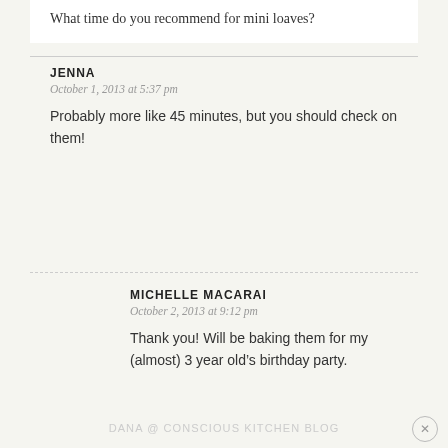What time do you recommend for mini loaves?
JENNA
October 1, 2013 at 5:37 pm
Probably more like 45 minutes, but you should check on them!
MICHELLE MACARAI
October 2, 2013 at 9:12 pm
Thank you! Will be baking them for my (almost) 3 year old’s birthday party.
DANA @ CONSCIOUS KITCHEN BLOG